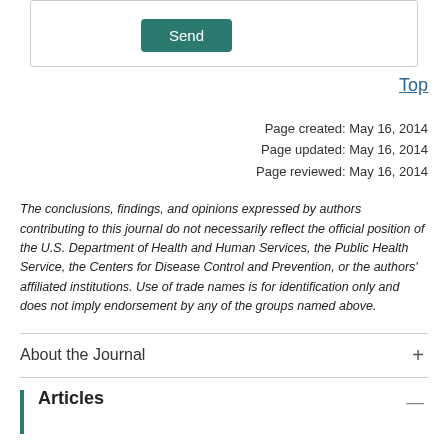[Figure (screenshot): Send button in a teal/green rounded rectangle]
Top
Page created: May 16, 2014
Page updated: May 16, 2014
Page reviewed: May 16, 2014
The conclusions, findings, and opinions expressed by authors contributing to this journal do not necessarily reflect the official position of the U.S. Department of Health and Human Services, the Public Health Service, the Centers for Disease Control and Prevention, or the authors' affiliated institutions. Use of trade names is for identification only and does not imply endorsement by any of the groups named above.
About the Journal
Articles